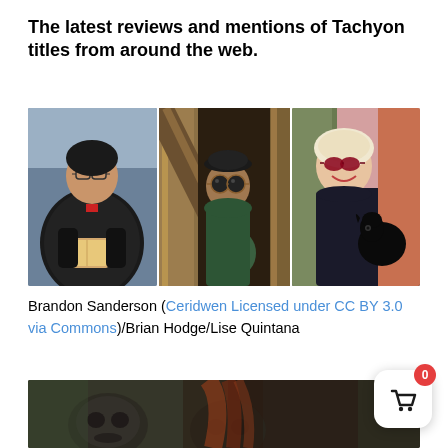The latest reviews and mentions of Tachyon titles from around the web.
[Figure (photo): Three-panel photo strip showing Brandon Sanderson (man in dark jacket reading a book), Brian Hodge (man with sunglasses in a wooden doorway), and Lise Quintana (woman with short hair holding a black dog)]
Brandon Sanderson (Ceridwen Licensed under CC BY 3.0 via Commons)/Brian Hodge/Lise Quintana
[Figure (photo): Dark atmospheric photo showing a shadowy figure with long hair and skull-like imagery, partially visible at bottom of page]